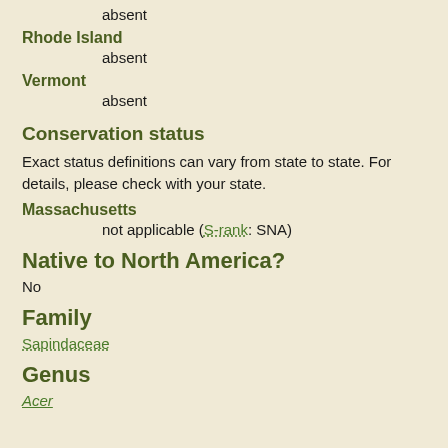absent
Rhode Island
absent
Vermont
absent
Conservation status
Exact status definitions can vary from state to state. For details, please check with your state.
Massachusetts
not applicable (S-rank: SNA)
Native to North America?
No
Family
Sapindaceae
Genus
Acer